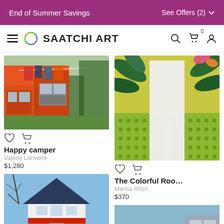End of Summer Savings   See Offers (2)
SAATCHI ART
[Figure (photo): Painting of happy camper scene with red/orange trailer and laundry hanging outside]
Happy camper
Valerie Lariviere
$1,280
[Figure (photo): Colorful painting of a room with tropical leaves and green/yellow background with white vase]
The Colorful Roo…
Marisa Añon
$370
[Figure (photo): Painting of a house with dark roof, red/white walls on green hill with blue sky]
[Figure (photo): Photo of pink/salmon towel draped over dark fence with building in background]